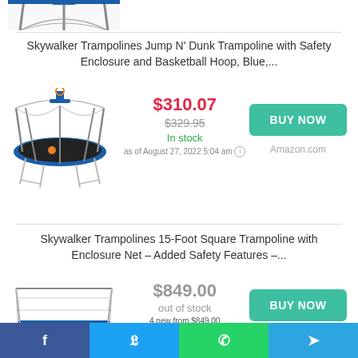[Figure (photo): Partial view of a blue trampoline with safety enclosure, top portion only visible]
Skywalker Trampolines Jump N' Dunk Trampoline with Safety Enclosure and Basketball Hoop, Blue,...
[Figure (photo): Round blue trampoline with black safety net enclosure and basketball hoop]
$310.07
$329.95
In stock
as of August 27, 2022 5:04 am
BUY NOW
Amazon.com
Skywalker Trampolines 15-Foot Square Trampoline with Enclosure Net – Added Safety Features –...
[Figure (photo): Square trampoline with blue padding and safety net enclosure]
$849.00
out of stock
4 new from $849.00
1 used from $698.00
as of August 27, 2022 5:04 am
BUY NOW
Amazon.com